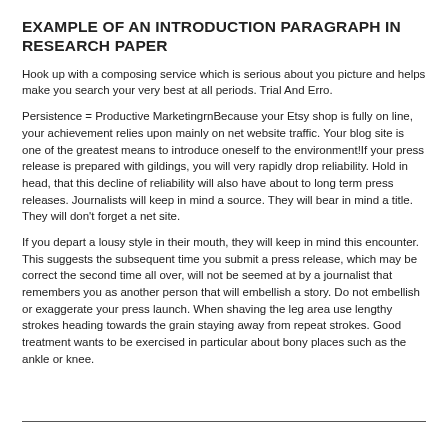EXAMPLE OF AN INTRODUCTION PARAGRAPH IN RESEARCH PAPER
Hook up with a composing service which is serious about you picture and helps make you search your very best at all periods. Trial And Erro.
Persistence = Productive MarketingrnBecause your Etsy shop is fully on line, your achievement relies upon mainly on net website traffic. Your blog site is one of the greatest means to introduce oneself to the environment!If your press release is prepared with gildings, you will very rapidly drop reliability. Hold in head, that this decline of reliability will also have about to long term press releases. Journalists will keep in mind a source. They will bear in mind a title. They will don't forget a net site.
If you depart a lousy style in their mouth, they will keep in mind this encounter. This suggests the subsequent time you submit a press release, which may be correct the second time all over, will not be seemed at by a journalist that remembers you as another person that will embellish a story. Do not embellish or exaggerate your press launch. When shaving the leg area use lengthy strokes heading towards the grain staying away from repeat strokes. Good treatment wants to be exercised in particular about bony places such as the ankle or knee.